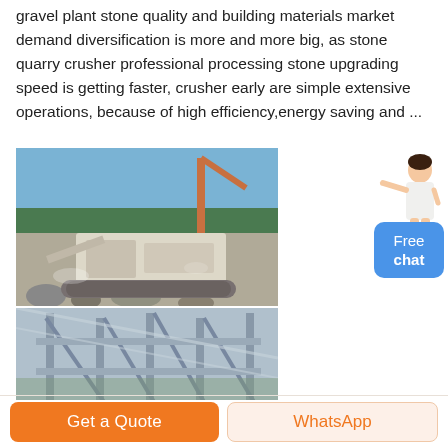gravel plant stone quality and building materials market demand diversification is more and more big, as stone quarry crusher professional processing stone upgrading speed is getting faster, crusher early are simple extensive operations, because of high efficiency,energy saving and ...
[Figure (photo): Photo of a mobile stone crusher/jaw crusher machine operating at a quarry site with rocks, dust, and a crane arm visible in the background. Below it is a second photo showing conveyor belt structures and industrial processing plant framework.]
[Figure (illustration): Small avatar illustration of a female customer service representative in white outfit, gesturing with one hand.]
Free chat